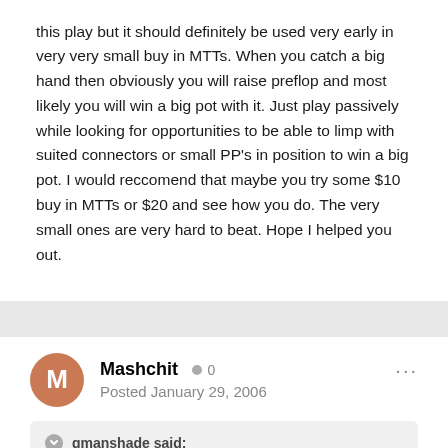this play but it should definitely be used very early in very very small buy in MTTs. When you catch a big hand then obviously you will raise preflop and most likely you will win a big pot with it. Just play passively while looking for opportunities to be able to limp with suited connectors or small PP's in position to win a big pot. I would reccomend that maybe you try some $10 buy in MTTs or $20 and see how you do. The very small ones are very hard to beat. Hope I helped you out.
Mashchit • 0
Posted January 29, 2006
gmanshade said:
It is interesting that you are guys are saying this because I've thought the exact same thing myself. I have gotten unlucky with coinflips etc. at the end of holdem tourneys, but a big problem is that in $3 or $5 tourneys when there are 100 or 150 people left I usually have about half the